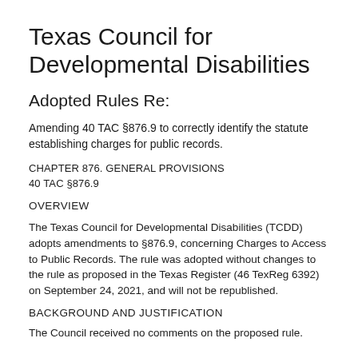Texas Council for Developmental Disabilities
Adopted Rules Re:
Amending 40 TAC §876.9 to correctly identify the statute establishing charges for public records.
CHAPTER 876. GENERAL PROVISIONS
40 TAC §876.9
OVERVIEW
The Texas Council for Developmental Disabilities (TCDD) adopts amendments to §876.9, concerning Charges to Access to Public Records. The rule was adopted without changes to the rule as proposed in the Texas Register (46 TexReg 6392) on September 24, 2021, and will not be republished.
BACKGROUND AND JUSTIFICATION
The Council received no comments on the proposed rule.